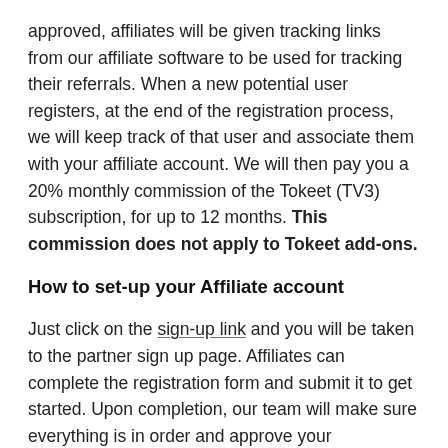approved, affiliates will be given tracking links from our affiliate software to be used for tracking their referrals. When a new potential user registers, at the end of the registration process, we will keep track of that user and associate them with your affiliate account. We will then pay you a 20% monthly commission of the Tokeet (TV3) subscription, for up to 12 months. This commission does not apply to Tokeet add-ons.
How to set-up your Affiliate account
Just click on the sign-up link and you will be taken to the partner sign up page. Affiliates can complete the registration form and submit it to get started. Upon completion, our team will make sure everything is in order and approve your application. Then an email